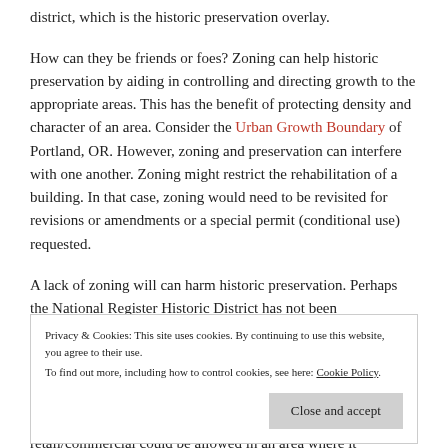district, which is the historic preservation overlay.
How can they be friends or foes? Zoning can help historic preservation by aiding in controlling and directing growth to the appropriate areas. This has the benefit of protecting density and character of an area. Consider the Urban Growth Boundary of Portland, OR. However, zoning and preservation can interfere with one another. Zoning might restrict the rehabilitation of a building. In that case, zoning would need to be revisited for revisions or amendments or a special permit (conditional use) requested.
A lack of zoning will can harm historic preservation. Perhaps the National Register Historic District has not been
Privacy & Cookies: This site uses cookies. By continuing to use this website, you agree to their use. To find out more, including how to control cookies, see here: Cookie Policy
Close and accept
retail/commercial could be allowed in an area where it